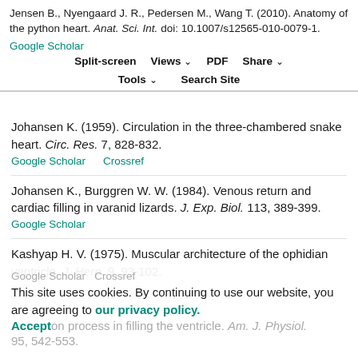Jensen B., Nyengaard J. R., Pedersen M., Wang T. (2010). Anatomy of the python heart. Anat. Sci. Int. doi: 10.1007/s12565-010-0079-1.
Johansen K. (1959). Circulation in the three-chambered snake heart. Circ. Res. 7, 828-832.
Johansen K., Burggren W. W. (1984). Venous return and cardiac filling in varanid lizards. J. Exp. Biol. 113, 389-399.
Kashyap H. V. (1975). Muscular architecture of the ophidian ventricle. J. Herp. 9, 93-102.
This site uses cookies. By continuing to use our website, you are agreeing to our privacy policy. Accept
on process in filling the ventricle. Am. J. Physiol. 95, 542-553.